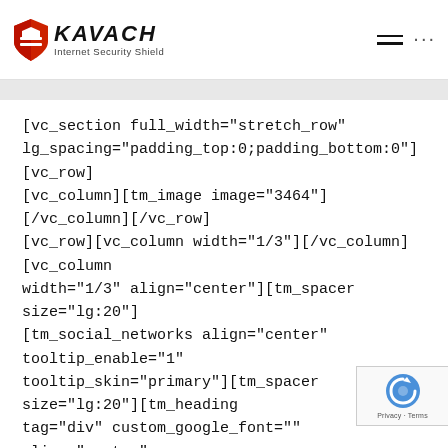[Figure (logo): Kavach Internet Security Shield logo with shield icon and brand name in bold italic, subtitle reads 'Internet Security Shield']
[Figure (other): Hamburger menu icon (three horizontal lines) and three dots icon in page header]
[vc_section full_width="stretch_row" lg_spacing="padding_top:0;padding_bottom:0"][vc_row][vc_column][tm_image image="3464"][/vc_column][/vc_row][vc_row][vc_column width="1/3"][/vc_column][vc_column width="1/3" align="center"][tm_spacer size="lg:20"][tm_social_networks align="center" tooltip_enable="1" tooltip_skin="primary"][tm_spacer size="lg:20"][tm_heading tag="div" custom_google_font="" align="center" text_color="custom" custom_text_color="#7e7e7e"]© 2019 Mobishastra Technologies Pvt. Ltd.
Developed By Digi Fruition[/tm_heading][/vc_column][vc_column width="1/3"][/vc_column][/vc_row][/vc_section]
[Figure (other): reCAPTCHA badge with Privacy and Terms text]